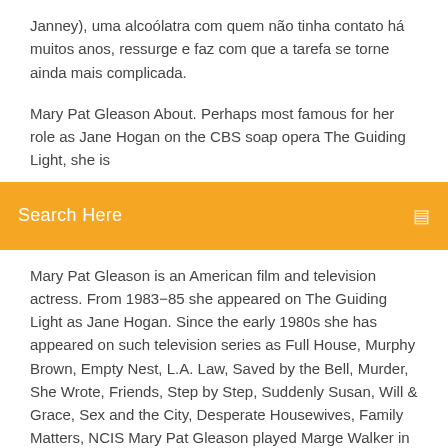Janney), uma alcoólatra com quem não tinha contato há muitos anos, ressurge e faz com que a tarefa se torne ainda mais complicada.
Mary Pat Gleason About. Perhaps most famous for her role as Jane Hogan on the CBS soap opera The Guiding Light, she is
[Figure (screenshot): Orange search bar with text 'Search Here' and a search icon on the right]
Mary Pat Gleason is an American film and television actress. From 1983−85 she appeared on The Guiding Light as Jane Hogan. Since the early 1980s she has appeared on such television series as Full House, Murphy Brown, Empty Nest, L.A. Law, Saved by the Bell, Murder, She Wrote, Friends, Step by Step, Suddenly Susan, Will & Grace, Sex and the City, Desperate Housewives, Family Matters, NCIS Mary Pat Gleason played Marge Walker in the season ten Grey's Anatomy episode Thriller. Filmography Pencil Town (????), The Chain (2019), Sierra